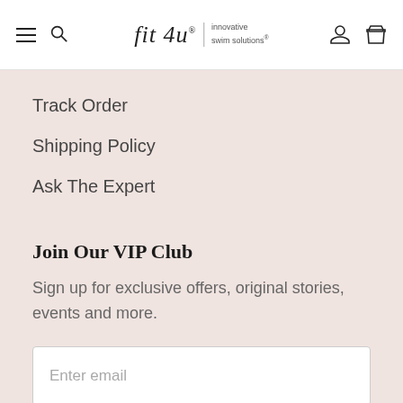fit 4u | innovative swim solutions
Track Order
Shipping Policy
Ask The Expert
Join Our VIP Club
Sign up for exclusive offers, original stories, events and more.
Enter email
JOIN VIP